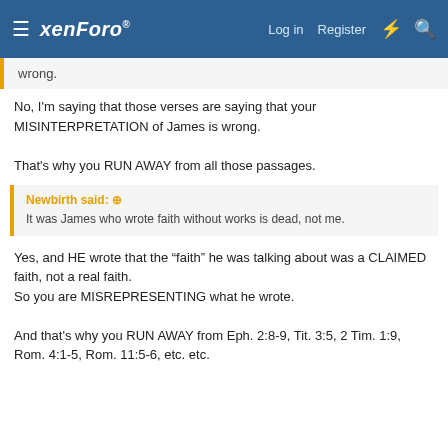xenForo — Log in  Register
wrong.
No, I'm saying that those verses are saying that your MISINTERPRETATION of James is wrong.

That's why you RUN AWAY from all those passages.
Newbirth said: ↑
It was James who wrote faith without works is dead, not me.
Yes, and HE wrote that the "faith" he was talking about was a CLAIMED faith, not a real faith.
So you are MISREPRESENTING what he wrote.

And that's why you RUN AWAY from Eph. 2:8-9, Tit. 3:5, 2 Tim. 1:9, Rom. 4:1-5, Rom. 11:5-6, etc. etc.